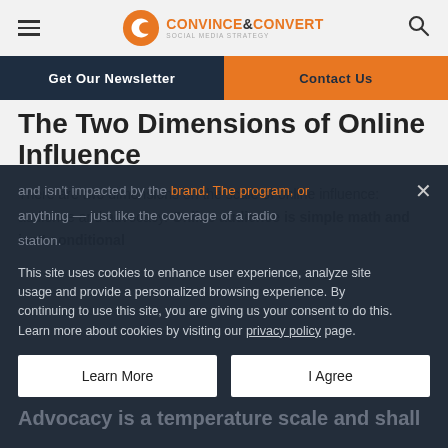Convince & Convert
Get Our Newsletter | Contact Us
The Two Dimensions of Online Influence
There are two dimensions on the scale of online influence: audience and advocacy. Online audience is simple math and isn't conditional
This site uses cookies to enhance user experience, analyze site usage and provide a personalized browsing experience. By continuing to use this site, you are giving us your consent to do this. Learn more about cookies by visiting our privacy policy page.
and isn't impacted by the brand. The program, or anything — just like the coverage of a radio station.
Advocacy is a temperature scale and shall